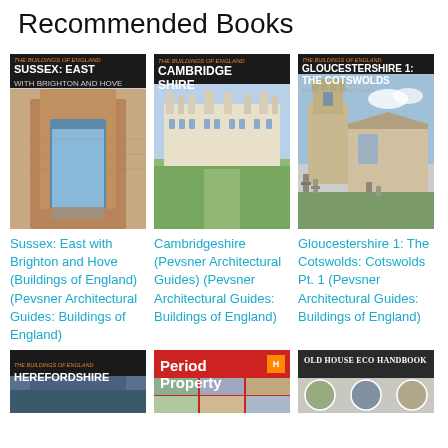Recommended Books
[Figure (photo): Book cover: Sussex: East with Brighton and Hove (Buildings of England) - Pevsner Architectural Guides, showing a brick building with arched entrance]
Sussex: East with Brighton and Hove (Buildings of England) (Pevsner Architectural Guides: Buildings of England)
[Figure (photo): Book cover: Cambridgeshire (Pevsner Architectural Guides) - showing King's College Cambridge and green lawn]
Cambridgeshire (Pevsner Architectural Guides) (Pevsner Architectural Guides: Buildings of England)
[Figure (photo): Book cover: Gloucestershire 1: The Cotswolds - Pevsner Architectural Guides, showing a stone church with tower and graveyard]
Gloucestershire 1: The Cotswolds: Cotswolds Pt. 1 (Pevsner Architectural Guides: Buildings of England)
[Figure (photo): Book cover: Herefordshire - Pevsner Architectural Guides, Buildings of England series]
[Figure (photo): Book cover: Period Property - Haynes manual style red cover with grid of property images]
[Figure (photo): Book cover: Old House Eco Handbook - dark top with circular nature/eco images]